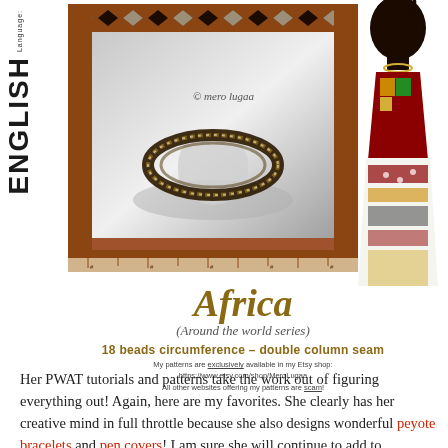[Figure (illustration): Product cover image for an African bead bracelet pattern. Shows an African textile/framed image with a beaded bracelet on display stand, a silhouette of an African woman in patterned dress on the right. Vertical text 'Language: ENGLISH' on the left side. Copyright mark 'mero lugaa' visible on the image.]
Africa
(Around the world series)
18 beads circumference – double column seam
My patterns are exclusively available in my Etsy shop:
https://www.etsy.com/shop/MeroLugaa
All other websites offering my patterns are scam!
Her PWAT tutorials and patterns take the work out of figuring everything out!  Again, here are my favorites. She clearly has her creative mind in full throttle because she also designs wonderful peyote bracelets and pen covers! I am sure she will continue to add to